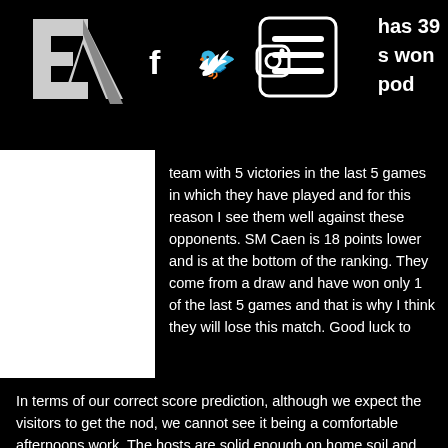[Figure (logo): EA-style logo with letter E and A in white on black background]
[Figure (infographic): Social media icons: Facebook (f), Twitter bird, Instagram camera]
[Figure (other): Hamburger menu icon - rounded rectangle with three horizontal lines]
has 39 s won pod
team with 5 victories in the last 5 games in which they have played and for this reason I see them well against these opponents. SM Caen is 18 points lower and is at the bottom of the ranking. They come from a draw and have won only 1 of the last 5 games and that is why I think they will lose this match. Good luck to
In terms of our correct score prediction, although we expect the visitors to get the nod, we cannot see it being a comfortable afternoons work. The hosts are solid enough on home soil and average 1.33 goals per game in front of their own fans. Meanwhile the visitors have scored in two thirds of their away matches this season and have scored